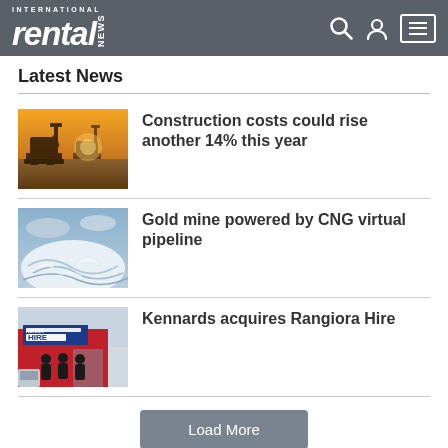International Rental News
Latest News
[Figure (photo): Construction excavators on a job site at sunset]
Construction costs could rise another 14% this year
[Figure (photo): Aerial view of ocean waves or snowy landscape]
Gold mine powered by CNG virtual pipeline
[Figure (photo): Kennards Hire store front with three staff members in uniform]
Kennards acquires Rangiora Hire
Load More